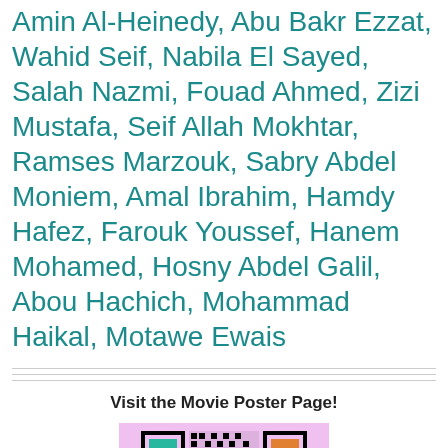Amin Al-Heinedy, Abu Bakr Ezzat, Wahid Seif, Nabila El Sayed, Salah Nazmi, Fouad Ahmed, Zizi Mustafa, Seif Allah Mokhtar, Ramses Marzouk, Sabry Abdel Moniem, Amal Ibrahim, Hamdy Hafez, Farouk Youssef, Hanem Mohamed, Hosny Abdel Galil, Abou Hachich, Mohammad Haikal, Motawe Ewais
Visit the Movie Poster Page!
[Figure (other): QR code on a pink/lavender background with colorful corner markers]